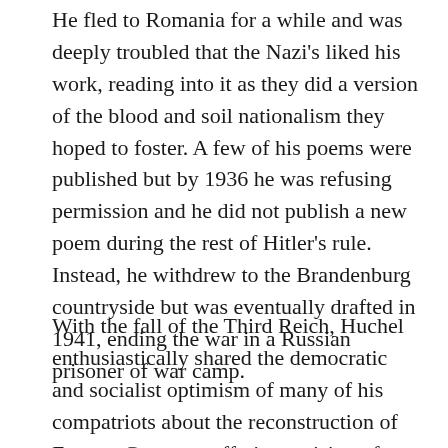He fled to Romania for a while and was deeply troubled that the Nazi's liked his work, reading into it as they did a version of the blood and soil nationalism they hoped to foster. A few of his poems were published but by 1936 he was refusing permission and he did not publish a new poem during the rest of Hitler's rule. Instead, he withdrew to the Brandenburg countryside but was eventually drafted in 1941, ending the war in a Russian prisoner of war camp.
With the fall of the Third Reich, Huchel enthusiastically shared the democratic and socialist optimism of many of his compatriots about the reconstruction of Eastern Germany offering a vision of freedom and equality to all